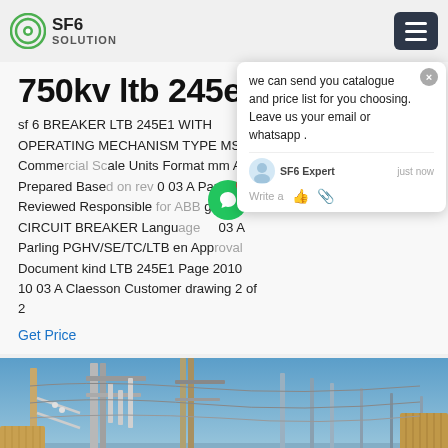SF6 SOLUTION
750kv ltb 245e1 Ecuador
sf 6 BREAKER LTB 245E1 WITH OPERATING MECHANISM TYPE MSD1 Comme... ale Units Format mm A3 Prepared Base... 0 03 A Parling Reviewed Responsible... gaz sf6 CIRCUIT BREAKER Langu... 03 A Parling PGHV/SE/TC/LTB en App... Document kind LTB 245E1 Page 2010 10 03 A Claesson Customer drawing 2 of 2
Get Price
[Figure (photo): Outdoor high-voltage circuit breaker / electrical substation infrastructure photograph showing large metal structures, insulators, and towers against a blue sky]